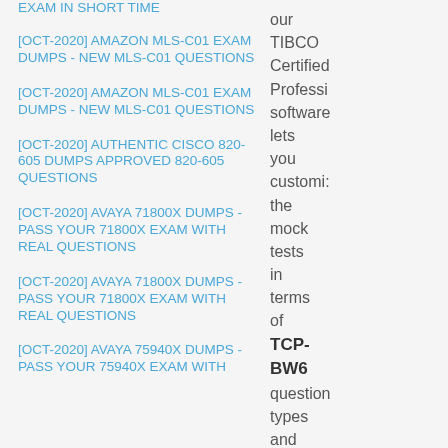EXAM IN SHORT TIME
[OCT-2020] AMAZON MLS-C01 EXAM DUMPS - NEW MLS-C01 QUESTIONS
[OCT-2020] AMAZON MLS-C01 EXAM DUMPS - NEW MLS-C01 QUESTIONS
[OCT-2020] AUTHENTIC CISCO 820-605 DUMPS APPROVED 820-605 QUESTIONS
[OCT-2020] AVAYA 71800X DUMPS - PASS YOUR 71800X EXAM WITH REAL QUESTIONS
[OCT-2020] AVAYA 71800X DUMPS - PASS YOUR 71800X EXAM WITH REAL QUESTIONS
[OCT-2020] AVAYA 75940X DUMPS - PASS YOUR 75940X EXAM WITH
our TIBCO Certified Professi software lets you customize the mock tests in terms of TCP-BW6 question types and timings. This